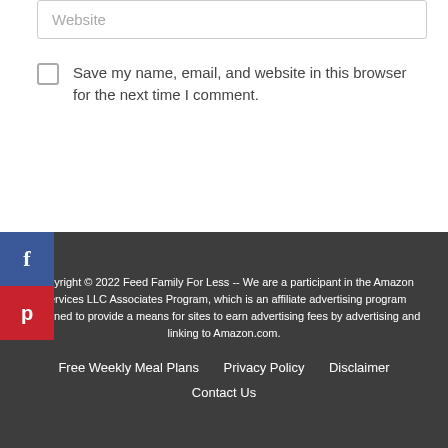Website
Save my name, email, and website in this browser for the next time I comment.
Post Comment »
[Figure (other): Facebook social share button (blue square with f icon)]
[Figure (other): Pinterest social share button (red square with P icon)]
Copyright © 2022 Feed Family For Less -- We are a participant in the Amazon Services LLC Associates Program, which is an affiliate advertising program designed to provide a means for sites to earn advertising fees by advertising and linking to Amazon.com.

Free Weekly Meal Plans   Privacy Policy   Disclaimer
Contact Us